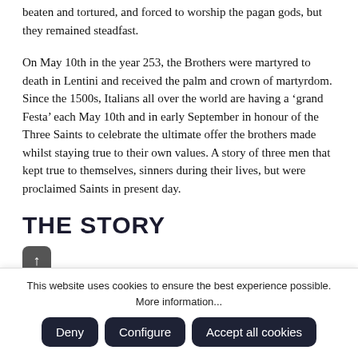beaten and tortured, and forced to worship the pagan gods, but they remained steadfast.
On May 10th in the year 253, the Brothers were martyred to death in Lentini and received the palm and crown of martyrdom. Since the 1500s, Italians all over the world are having a ‘grand Festa’ each May 10th and in early September in honour of the Three Saints to celebrate the ultimate offer the brothers made whilst staying true to their own values. A story of three men that kept true to themselves, sinners during their lives, but were proclaimed Saints in present day.
THE STORY
TRESANTI was founded in 2015 with a focus on smart-casual wear, quality and most importantly comfort. Our brand is
This website uses cookies to ensure the best experience possible. More information...
Deny | Configure | Accept all cookies